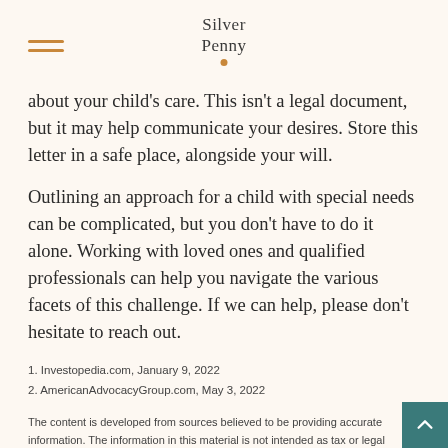Silver Penny
about your child’s care. This isn’t a legal document, but it may help communicate your desires. Store this letter in a safe place, alongside your will.
Outlining an approach for a child with special needs can be complicated, but you don’t have to do it alone. Working with loved ones and qualified professionals can help you navigate the various facets of this challenge. If we can help, please don’t hesitate to reach out.
1. Investopedia.com, January 9, 2022
2. AmericanAdvocacyGroup.com, May 3, 2022
The content is developed from sources believed to be providing accurate information. The information in this material is not intended as tax or legal advice. It may not be used for the purpose of avoiding any federal tax penalties. Please consult legal or tax professionals for specific information regarding your individual situation. This material was developed and produced by FMG Suite to provide information on a topic that may be of interest. FMG Suite is not affiliated with the named broker-dealer, state- or SEC-registered investment advisory firm. The opinions expressed and material provided are for general information, and should not be considered a solicitation for